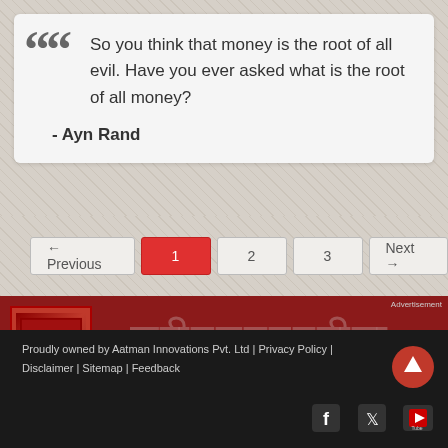So you think that money is the root of all evil. Have you ever asked what is the root of all money?
- Ayn Rand
← Previous  1  2  3  Next →
[Figure (illustration): Red advertisement banner featuring a book cover on the left and Devanagari script text on the right. Labeled 'Advertisement' in top-right corner.]
Proudly owned by Aatman Innovations Pvt. Ltd | Privacy Policy | Disclaimer | Sitemap | Feedback